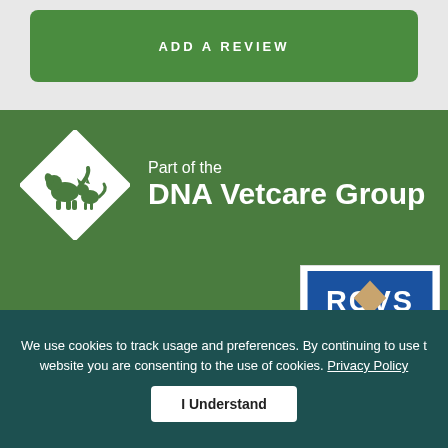ADD A REVIEW
[Figure (logo): Part of the DNA Vetcare Group logo - white diamond shape with animal silhouettes, text 'Part of the DNA Vetcare Group' in white on green background]
[Figure (logo): RCVS Accredited Practice Core Standards badge - blue and white with gold chevron]
We use cookies to track usage and preferences. By continuing to use this website you are consenting to the use of cookies. Privacy Policy
I Understand